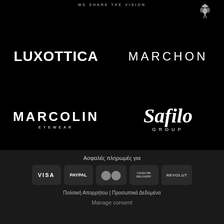WE SHARE THE VISION
[Figure (logo): Small decorative crown/insect logo in top right]
[Figure (logo): Luxottica logo in white on black background]
[Figure (logo): Marchon logo in white on black background]
[Figure (logo): Marcolin Eyewear logo in white on black background]
[Figure (logo): Safilo Group logo in white italic on black background]
Ασφαλές πληρωμές για
[Figure (infographic): Payment method icons: VISA, PayPal, Mastercard, Cash on Delivery, Revolut]
Πολιτική Απορρήτου | Προσωπικά Δεδομένα
Manage consent